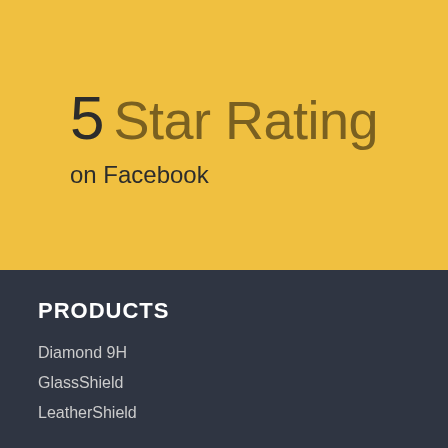5 Star Rating on Facebook
PRODUCTS
Diamond 9H
GlassShield
LeatherShield